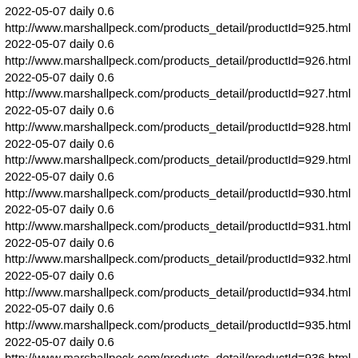2022-05-07 daily 0.6
http://www.marshallpeck.com/products_detail/productId=925.html
2022-05-07 daily 0.6
http://www.marshallpeck.com/products_detail/productId=926.html
2022-05-07 daily 0.6
http://www.marshallpeck.com/products_detail/productId=927.html
2022-05-07 daily 0.6
http://www.marshallpeck.com/products_detail/productId=928.html
2022-05-07 daily 0.6
http://www.marshallpeck.com/products_detail/productId=929.html
2022-05-07 daily 0.6
http://www.marshallpeck.com/products_detail/productId=930.html
2022-05-07 daily 0.6
http://www.marshallpeck.com/products_detail/productId=931.html
2022-05-07 daily 0.6
http://www.marshallpeck.com/products_detail/productId=932.html
2022-05-07 daily 0.6
http://www.marshallpeck.com/products_detail/productId=934.html
2022-05-07 daily 0.6
http://www.marshallpeck.com/products_detail/productId=935.html
2022-05-07 daily 0.6
http://www.marshallpeck.com/products_detail/productId=936.html
2022-05-07 daily 0.6
http://www.marshallpeck.com/products_detail/productId=937.html
2022-05-07 daily 0.6
http://www.marshallpeck.com/products_detail/productId=...html